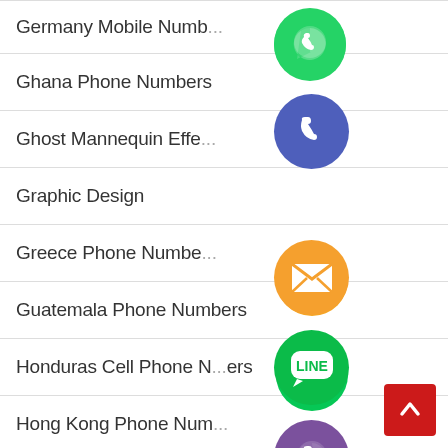Germany Mobile Numbers
Ghana Phone Numbers
Ghost Mannequin Effect
Graphic Design
Greece Phone Numbers
Guatemala Phone Numbers
Honduras Cell Phone Numbers
Hong Kong Phone Numbers
[Figure (illustration): Floating social media and communication app icons (WhatsApp, phone, email/envelope, LINE, Viber, close/X) overlaid on the list, plus a red back-to-top button]